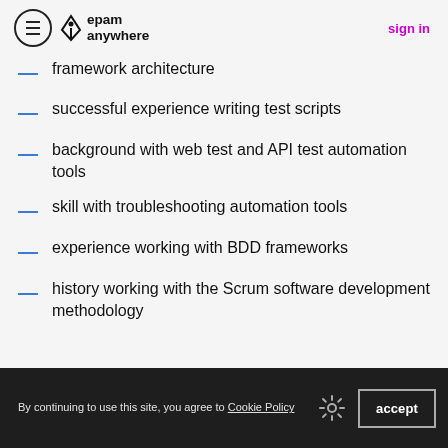epam anywhere — sign in
framework architecture
successful experience writing test scripts
background with web test and API test automation tools
skill with troubleshooting automation tools
experience working with BDD frameworks
history working with the Scrum software development methodology
By continuing to use this site, you agree to Cookie Policy  accept